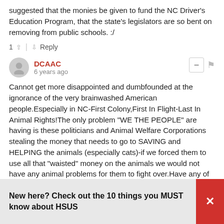suggested that the monies be given to fund the NC Driver's Education Program, that the state's legislators are so bent on removing from public schools. :/
1 ↑ | ↓ Reply
DCAAC
6 years ago
Cannot get more disappointed and dumbfounded at the ignorance of the very brainwashed American people.Especially in NC-First Colony,First In Flight-Last In Animal Rights!The only problem "WE THE PEOPLE" are having is these politicians and Animal Welfare Corporations stealing the money that needs to go to SAVING and HELPING the animals (especially cats)-if we forced them to use all that "waisted" money on the animals we would not have any animal problems for them to fight over.Have any of you ever divided the amount of money it takes for all this controversy,Federal,State and Animal Welfare Salaries by the number of animals needing help?-every stray cat could be a
New here? Check out the 10 things you MUST know about HSUS